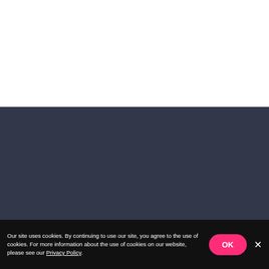[Figure (screenshot): White area at top of page, likely a website header area that is blank/loading]
[Figure (screenshot): Dark blue-grey panel area (color #32384a) occupying the middle portion of the page, with a small white rectangle outline icon in the upper-right corner]
Our site uses cookies. By continuing to use our site, you agree to the use of cookies. For more information about the use of cookies on our website, please see our Privacy Policy.
OK
×